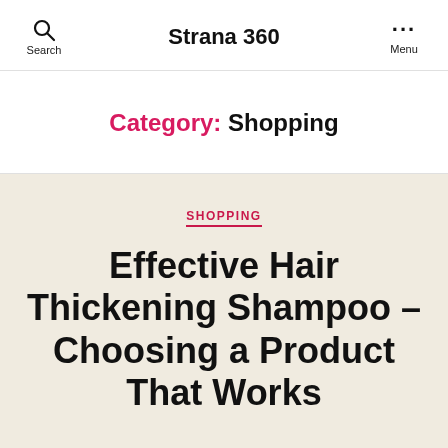Search  Strana 360  Menu
Category: Shopping
SHOPPING
Effective Hair Thickening Shampoo – Choosing a Product That Works